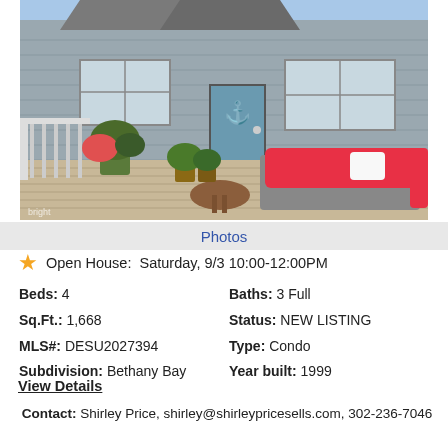[Figure (photo): Exterior photo of a gray siding house with a deck featuring red outdoor furniture, a coffee table, and potted plants. Anchor decoration on door.]
Photos
Open House: Saturday, 9/3 10:00-12:00PM
| Beds: | 4 | Baths: | 3 Full |
| Sq.Ft.: | 1,668 | Status: | NEW LISTING |
| MLS#: | DESU2027394 | Type: | Condo |
| Subdivision: | Bethany Bay | Year built: | 1999 |
View Details
Contact: Shirley Price, shirley@shirleypricesells.com, 302-236-7046